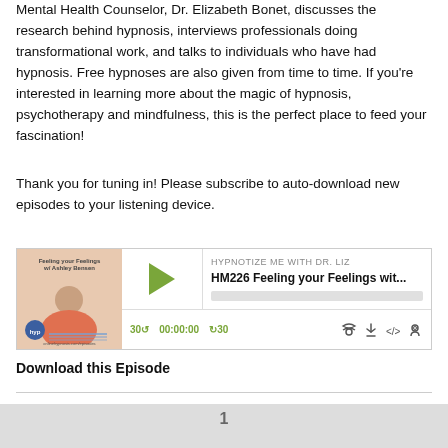Mental Health Counselor, Dr. Elizabeth Bonet, discusses the research behind hypnosis, interviews professionals doing transformational work, and talks to individuals who have had hypnosis. Free hypnoses are also given from time to time. If you're interested in learning more about the magic of hypnosis, psychotherapy and mindfulness, this is the perfect place to feed your fascination!
Thank you for tuning in! Please subscribe to auto-download new episodes to your listening device.
[Figure (screenshot): Podcast player widget showing episode 'HM226 Feeling your Feelings wit...' from HYPNOTIZE ME WITH DR. LIZ, with play button, time display 00:00:00, skip controls, and playback icons.]
Download this Episode
1